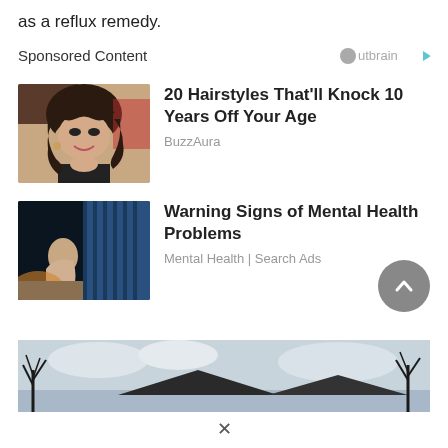as a reflux remedy.
Sponsored Content
[Figure (photo): Woman with short dark pixie haircut smiling at camera]
20 Hairstyles That'll Knock 10 Years Off Your Age
BuzzAura
[Figure (photo): Person in blue-lit room appearing to be in distress]
Warning Signs of Mental Health Problems
Mental Health | Search Ads
[Figure (photo): Winter scene with bare tree branches and rooftop against a cloudy sky]